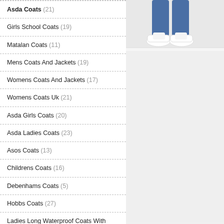Asda Coats (21)
Girls School Coats (19)
Matalan Coats (11)
Mens Coats And Jackets (19)
Womens Coats And Jackets (17)
Womens Coats Uk (21)
Asda Girls Coats (20)
Asda Ladies Coats (23)
Asos Coats (13)
Childrens Coats (16)
Debenhams Coats (5)
Hobbs Coats (27)
Ladies Long Waterproof Coats With Hood (11)
Long Winter Coats Womens (19)
Monsoon Girls Coats (23)
[Figure (photo): Photo of a person wearing blue jeans and white sneakers/shoes, cropped to show lower legs and feet.]
[Figure (photo): Light grey/white background image panel, empty or with faint product image.]